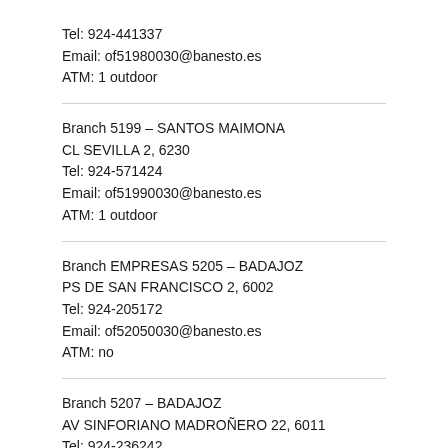Tel: 924-441337
Email: of51980030@banesto.es
ATM: 1 outdoor
Branch 5199 – SANTOS MAIMONA
CL SEVILLA 2, 6230
Tel: 924-571424
Email: of51990030@banesto.es
ATM: 1 outdoor
Branch EMPRESAS 5205 – BADAJOZ
PS DE SAN FRANCISCO 2, 6002
Tel: 924-205172
Email: of52050030@banesto.es
ATM: no
Branch 5207 – BADAJOZ
AV SINFORIANO MADROÑERO 22, 6011
Tel: 924-236242